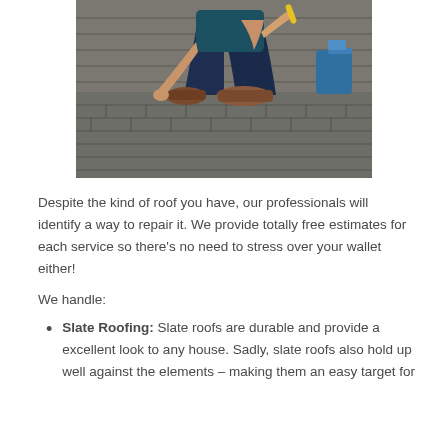[Figure (photo): A worker crouching on a roof with shingles, working with a tool, wearing work boots and dark pants. Blue containers visible in background.]
Despite the kind of roof you have, our professionals will identify a way to repair it. We provide totally free estimates for each service so there’s no need to stress over your wallet either!
We handle:
Slate Roofing: Slate roofs are durable and provide a excellent look to any house. Sadly, slate roofs also hold up well against the elements – making them an easy target for